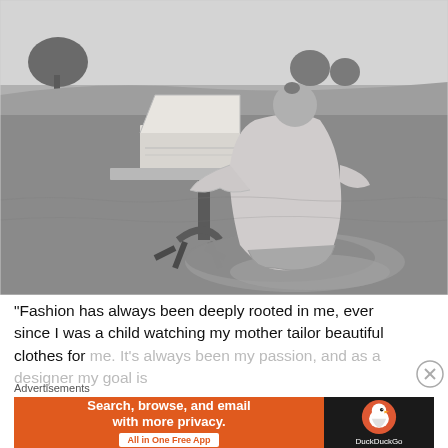[Figure (photo): Black and white photo of a woman with her hair in a bun, seated on a large cushion/pillow on grass, working at a small wooden table with an open box/case on it, outdoors in a field with trees in the background.]
“Fashion has always been deeply rooted in me, ever since I was a child watching my mother tailor beautiful clothes for me. It’s always been my passion, and as a designer my goal is
Advertisements
[Figure (screenshot): DuckDuckGo advertisement banner: orange background on left with text 'Search, browse, and email with more privacy.' and 'All in One Free App' button; dark background on right with DuckDuckGo duck logo and 'DuckDuckGo' text.]